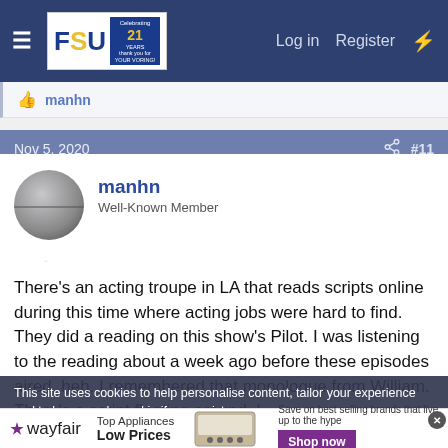FSU forum navigation bar with Log in, Register links
manhn
Nov 5, 2020   #11
manhn
Well-Known Member
There's an acting troupe in LA that reads scripts online during this time where acting jobs were hard to find. They did a reading on this show's Pilot. I was listening to the reading about a week ago before these episodes aired, heh. I remembered that monologue from William. There's a script floating around. I
This site uses cookies to help personalise content, tailor your experience and to keep you logged in if you register.
[Figure (screenshot): Wayfair advertisement banner: Top Appliances Low Prices, with appliance image and Shop now button]